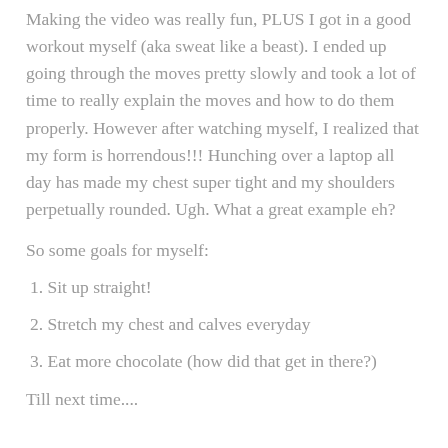Making the video was really fun, PLUS I got in a good workout myself (aka sweat like a beast). I ended up going through the moves pretty slowly and took a lot of time to really explain the moves and how to do them properly. However after watching myself, I realized that my form is horrendous!!! Hunching over a laptop all day has made my chest super tight and my shoulders perpetually rounded. Ugh. What a great example eh?
So some goals for myself:
1. Sit up straight!
2. Stretch my chest and calves everyday
3. Eat more chocolate (how did that get in there?)
Till next time....